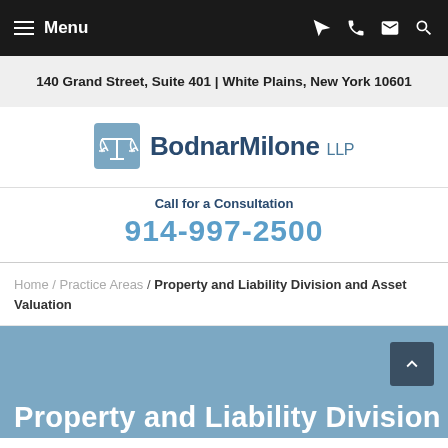Menu
140 Grand Street, Suite 401 | White Plains, New York 10601
[Figure (logo): BodnarMilone LLP logo with scales of justice icon]
Call for a Consultation
914-997-2500
Home / Practice Areas / Property and Liability Division and Asset Valuation
Property and Liability Division